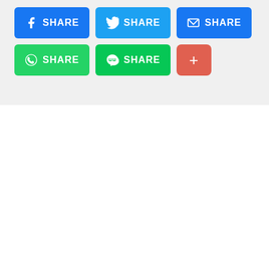[Figure (infographic): Social media share buttons: Facebook Share (blue), Twitter Share (blue), Email Share (blue), WhatsApp Share (green), LINE Share (green), and a red/salmon plus (+) button arranged in two rows.]